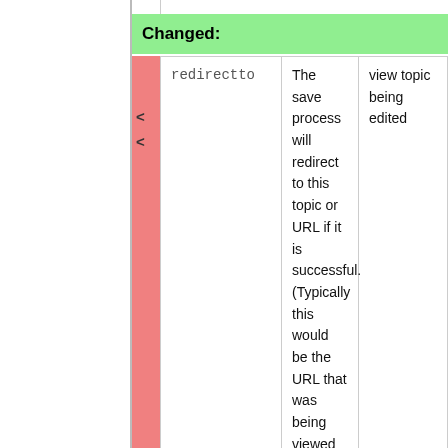Changed:
|  | redirectto | description | default |
| --- | --- | --- | --- |
| < < | redirectto | The save process will redirect to this topic or URL if it is successful. (Typically this would be the URL that was being viewed when edit was invoked). The parameter value can be a TopicName, a Web.TopicName, or a URL. Note: Redirect to a URL only works if it is enabled in configure (Miscellaneous {AllowRedirectUrl}). | view topic being edited |
|  | redirectto | description | default |
| --- | --- | --- | --- |
| > > | redirectto | The save process will redirect to this topic or URL if it is successful. (Typically this would be the URL that was being viewed when edit was invoked). The parameter | view topic being edited |